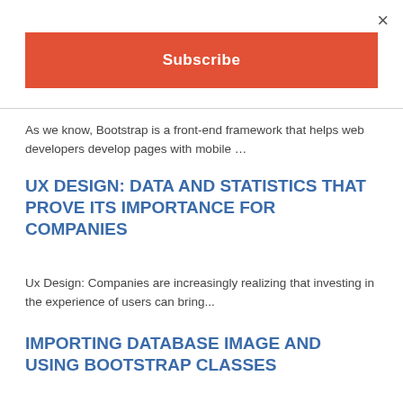×
Subscribe
As we know, Bootstrap is a front-end framework that helps web developers develop pages with mobile …
UX DESIGN: DATA AND STATISTICS THAT PROVE ITS IMPORTANCE FOR COMPANIES
Ux Design: Companies are increasingly realizing that investing in the experience of users can bring...
IMPORTING DATABASE IMAGE AND USING BOOTSTRAP CLASSES